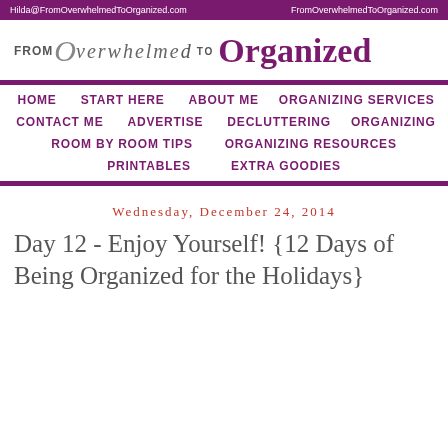Hilda@FromOverwhelmedToOrganized.com    FromOverwhelmedToOrganized.com
[Figure (logo): From Overwhelmed to Organized blog logo with stylized text]
HOME
START HERE
ABOUT ME
ORGANIZING SERVICES
CONTACT ME
ADVERTISE
DECLUTTERING
ORGANIZING
ROOM BY ROOM TIPS
ORGANIZING RESOURCES
PRINTABLES
EXTRA GOODIES
Wednesday, December 24, 2014
Day 12 - Enjoy Yourself! {12 Days of Being Organized for the Holidays}